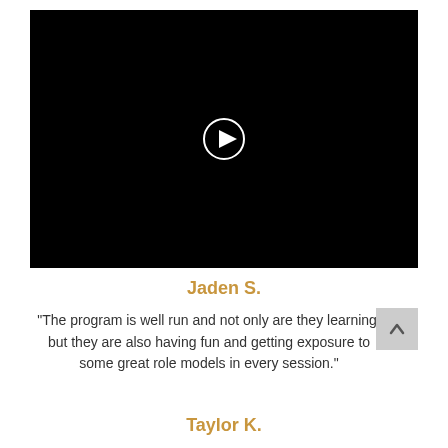[Figure (screenshot): Black video player thumbnail with circular white play button icon in the center]
Jaden S.
"The program is well run and not only are they learning, but they are also having fun and getting exposure to some great role models in every session."
Taylor K.